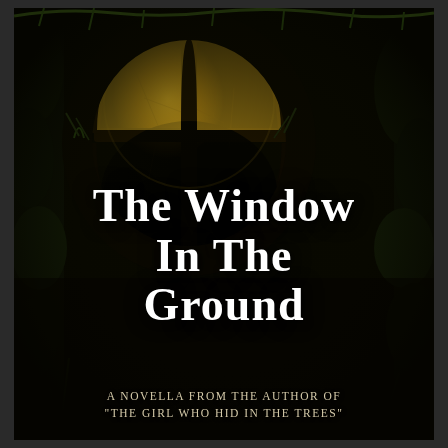[Figure (illustration): Book cover illustration: dark background with grass and foliage around the edges, a glowing yellowish window with cross-pane dividers set into the ground, surrounded by darkness. The window emits warm golden light from below the earth.]
The Window In The Ground
a novella from the author of "The Girl Who Hid In The Trees"